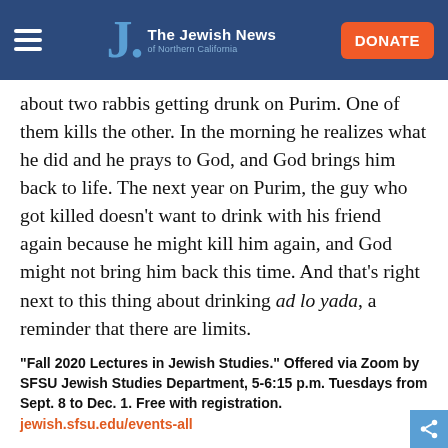The Jewish News of Northern California — DONATE
about two rabbis getting drunk on Purim. One of them kills the other. In the morning he realizes what he did and he prays to God, and God brings him back to life. The next year on Purim, the guy who got killed doesn't want to drink with his friend again because he might kill him again, and God might not bring him back this time. And that's right next to this thing about drinking ad lo yada, a reminder that there are limits.
“Fall 2020 Lectures in Jewish Studies.” Offered via Zoom by SFSU Jewish Studies Department, 5-6:15 p.m. Tuesdays from Sept. 8 to Dec. 1. Free with registration. jewish.sfsu.edu/events-all